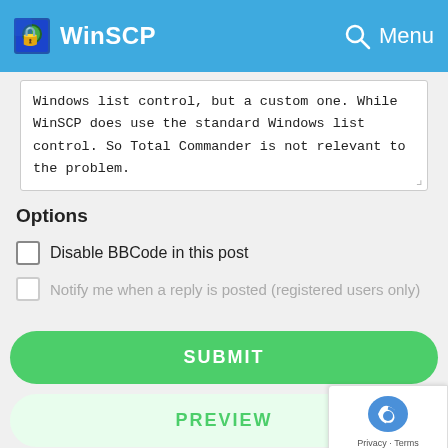WinSCP
Windows list control, but a custom one. While WinSCP does use the standard Windows list control. So Total Commander is not relevant to the problem.
Options
Disable BBCode in this post
Notify me when a reply is posted (registered users only)
SUBMIT
PREVIEW